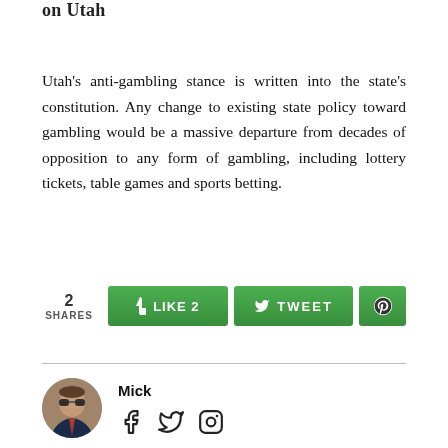on Utah
Utah's anti-gambling stance is written into the state's constitution. Any change to existing state policy toward gambling would be a massive departure from decades of opposition to any form of gambling, including lottery tickets, table games and sports betting.
2 SHARES  LIKE 2  TWEET  [Pinterest icon]
Mick
[Figure (photo): Circular avatar photo of author Mick, a man wearing sunglasses and a suit with tie]